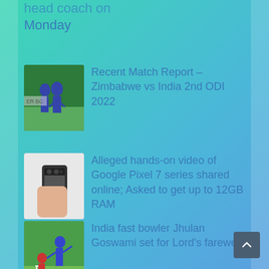head coach on Monday
Recent Match Report – Zimbabwe vs India 2nd ODI 2022
Alleged hands-on video of Google Pixel 7 series shared online; Asked to get up to 12GB RAM
India fast bowler Jhulan Goswami set for Lord's farewell